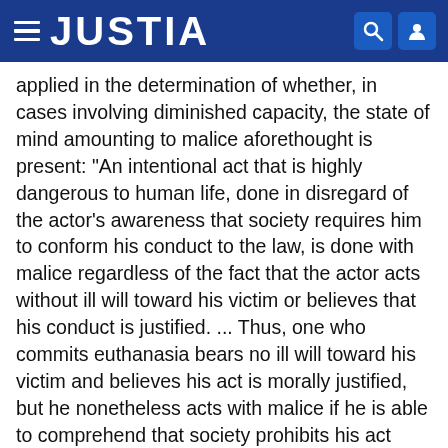JUSTIA
applied in the determination of whether, in cases involving diminished capacity, the state of mind amounting to malice aforethought is present: "An intentional act that is highly dangerous to human life, done in disregard of the actor's awareness that society requires him to conform his conduct to the law, is done with malice regardless of the fact that the actor acts without ill will toward his victim or believes that his conduct is justified. ... Thus, one who commits euthanasia bears no ill will toward his victim and believes his act is morally justified, but he nonetheless acts with malice if he is able to comprehend that society prohibits his act regardless of [70 Cal. 2d 736] personal belief. If because of mental defect, disease, or intoxication, however, the defendant is unable to comprehend his duty to govern his actions in accord with the duty imposed by law, he does not act with